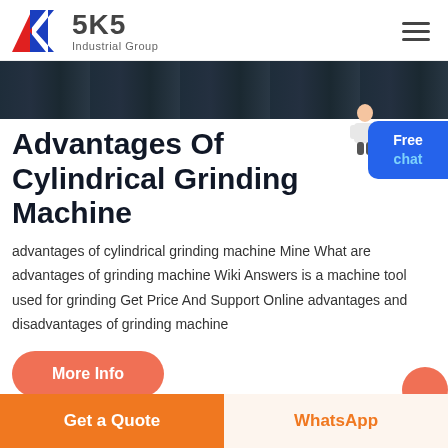[Figure (logo): SKS Industrial Group logo with red and blue K letter mark and bold SKS text]
[Figure (photo): Dark industrial machinery photo strip showing cylindrical grinding equipment]
Advantages Of Cylindrical Grinding Machine
advantages of cylindrical grinding machine Mine What are advantages of grinding machine Wiki Answers is a machine tool used for grinding Get Price And Support Online advantages and disadvantages of grinding machine
[Figure (illustration): Free chat widget button with person illustration]
More Info
Get a Quote
WhatsApp